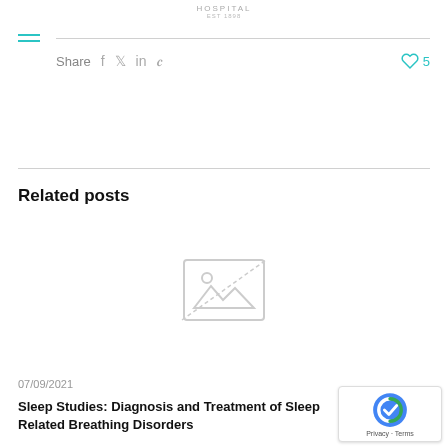HOSPITAL EST 1898
Share  f  t  in  P  ♡ 5
Related posts
[Figure (photo): Placeholder image icon (broken image thumbnail) centered in the related posts section]
07/09/2021
Sleep Studies: Diagnosis and Treatment of Sleep Related Breathing Disorders